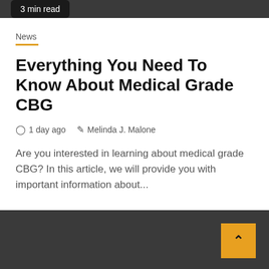3 min read
News
Everything You Need To Know About Medical Grade CBG
1 day ago  Melinda J. Malone
Are you interested in learning about medical grade CBG? In this article, we will provide you with important information about...